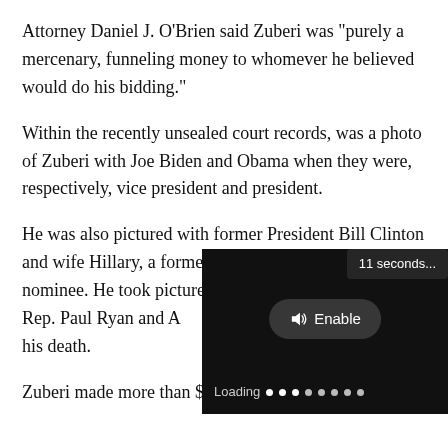Attorney Daniel J. O'Brien said Zuberi was "purely a mercenary, funneling money to whomever he believed would do his bidding."
Within the recently unsealed court records, was a photo of Zuberi with Joe Biden and Obama when they were, respectively, vice president and president.
He was also pictured with former President Bill Clinton and wife Hillary, a former Democratic presidential nominee. He took pictures with former House Speaker Rep. Paul Ryan and Arizona Sen. John McCain before his death.
[Figure (screenshot): A video player overlay showing a dark/black video player with a '11 seconds...' tooltip in the upper right, an Enable audio button in the center with a speaker icon, and a Loading progress indicator at the bottom left.]
Zuberi made more than $950,000 in unlawful donations